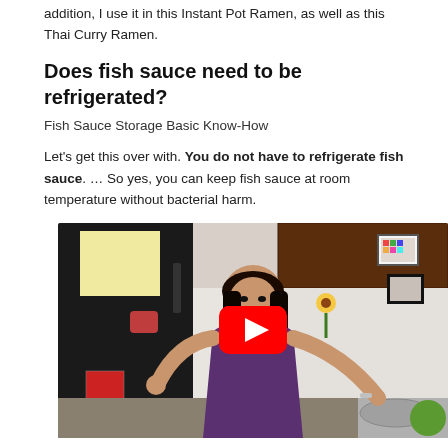addition, I use it in this Instant Pot Ramen, as well as this Thai Curry Ramen.
Does fish sauce need to be refrigerated?
Fish Sauce Storage Basic Know-How
Let's get this over with. You do not have to refrigerate fish sauce. … So yes, you can keep fish sauce at room temperature without bacterial harm.
[Figure (screenshot): YouTube video thumbnail showing a woman in a kitchen with various sauce bottles on the counter, wearing a purple apron, with a YouTube play button overlay in the center.]